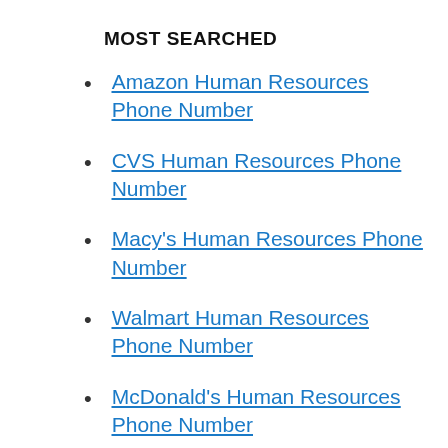MOST SEARCHED
Amazon Human Resources Phone Number
CVS Human Resources Phone Number
Macy's Human Resources Phone Number
Walmart Human Resources Phone Number
McDonald's Human Resources Phone Number